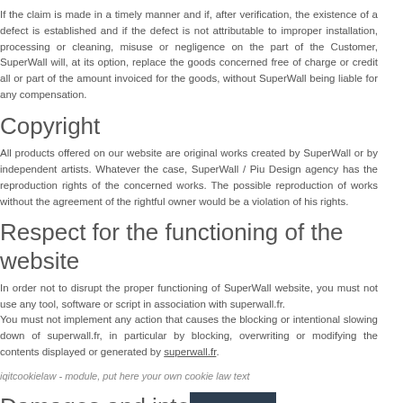If the claim is made in a timely manner and if, after verification, the existence of a defect is established and if the defect is not attributable to improper installation, processing or cleaning, misuse or negligence on the part of the Customer, SuperWall will, at its option, replace the goods concerned free of charge or credit all or part of the amount invoiced for the goods, without SuperWall being liable for any compensation.
Copyright
All products offered on our website are original works created by SuperWall or by independent artists. Whatever the case, SuperWall / Piu Design agency has the reproduction rights of the concerned works. The possible reproduction of works without the agreement of the rightful owner would be a violation of his rights.
Respect for the functioning of the website
In order not to disrupt the proper functioning of SuperWall website, you must not use any tool, software or script in association with superwall.fr.
You must not implement any action that causes the blocking or intentional slowing down of superwall.fr, in particular by blocking, overwriting or modifying the contents displayed or generated by superwall.fr.
iqitcookielaw - module, put here your own cookie law text
Damages and inte